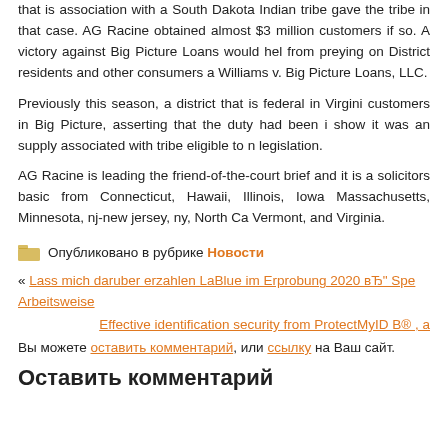that is association with a South Dakota Indian tribe gave the tribe in that case. AG Racine obtained almost $3 million customers if so. A victory against Big Picture Loans would help from preying on District residents and other consumers Williams v. Big Picture Loans, LLC.
Previously this season, a district that is federal in Virginia customers in Big Picture, asserting that the duty had been show it was an supply associated with tribe eligible to legislation.
AG Racine is leading the friend-of-the-court brief and it is solicitors basic from Connecticut, Hawaii, Illinois, Iowa Massachusetts, Minnesota, nj-new jersey, ny, North Ca Vermont, and Virginia.
Опубликовано в рубрике Новости
« Lass mich daruber erzahlen LaBlue im Erprobung 2020 вЂ" Spe Arbeitsweise
Effective identification security from ProtectMyID В® ,
Вы можете оставить комментарий, или ссылку на Ваш сайт.
Оставить комментарий